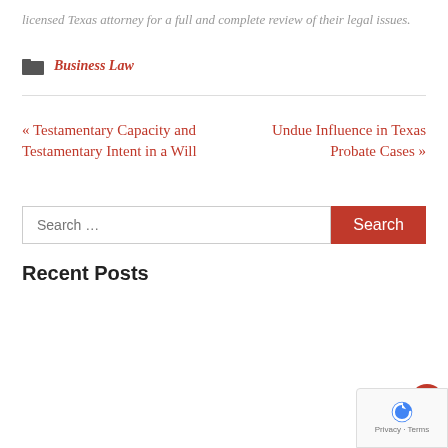licensed Texas attorney for a full and complete review of their legal issues.
Business Law
« Testamentary Capacity and Testamentary Intent in a Will
Undue Influence in Texas Probate Cases »
Search ...
Recent Posts